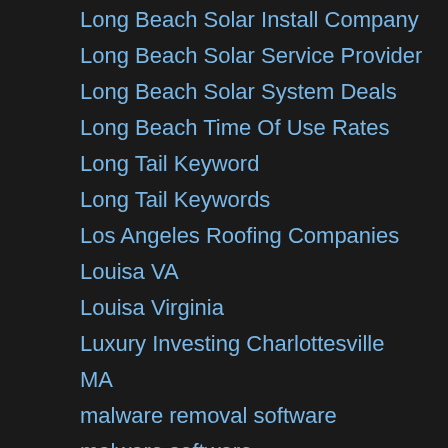Long Beach Solar Install Company
Long Beach Solar Service Provider
Long Beach Solar System Deals
Long Beach Time Of Use Rates
Long Tail Keyword
Long Tail Keywords
Los Angeles Roofing Companies
Louisa VA
Louisa Virginia
Luxury Investing Charlottesville
MA
malware removal software
malware software
manufactured green homes
manufactured homes
Marketing